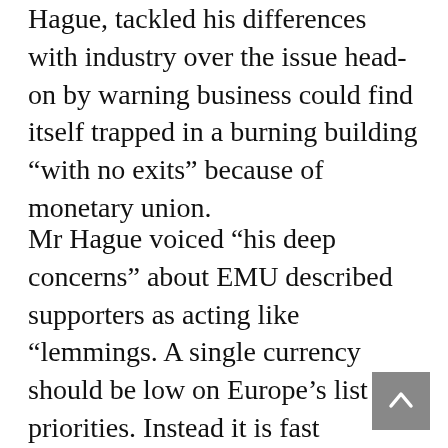Hague, tackled his differences with industry over the issue head-on by warning business could find itself trapped in a burning building “with no exits” because of monetary union.
Mr Hague voiced “his deep concerns” about EMU described supporters as acting like “lemmings. A single currency should be low on Europe’s list of priorities. Instead it is fast becoming its only priority,” he told delegates.